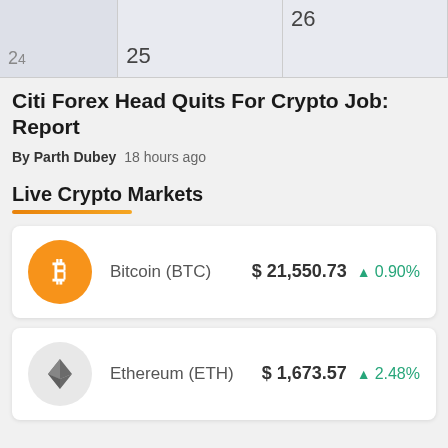[Figure (other): Top portion of a calendar showing columns with dates 24, 25, 26]
Citi Forex Head Quits For Crypto Job: Report
By Parth Dubey  18 hours ago
Live Crypto Markets
[Figure (infographic): Bitcoin (BTC) live price card showing orange Bitcoin logo, price $21,550.73, change +0.90%]
[Figure (infographic): Ethereum (ETH) live price card showing grey Ethereum diamond logo, price $1,673.57, change +2.48%]